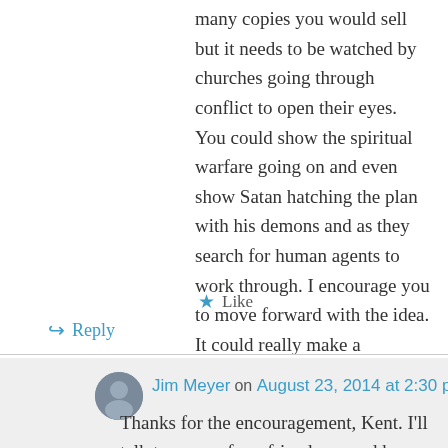many copies you would sell but it needs to be watched by churches going through conflict to open their eyes. You could show the spiritual warfare going on and even show Satan hatching the plan with his demons and as they search for human agents to work through. I encourage you to move forward with the idea. It could really make a difference in the Kingdom. Kent
★ Like
↪ Reply
Jim Meyer on August 23, 2014 at 2:30 pm
Thanks for the encouragement, Kent. I'll talk to some of my friends around here and see what they think. I'll need actors, of